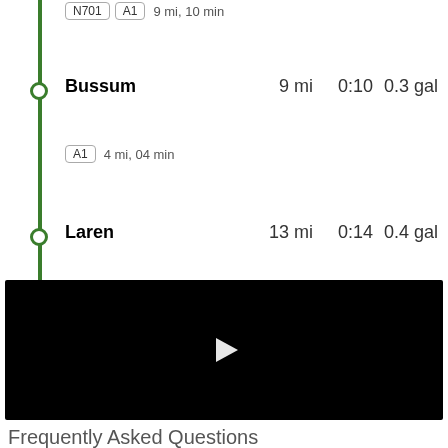N701  A1  9 mi, 10 min
Bussum  9 mi  0:10  0.3 gal
A1  4 mi, 04 min
Laren  13 mi  0:14  0.4 gal
[Figure (screenshot): Black video player with white play button triangle in center]
Frequently Asked Questions
How much does it cost to drive from Almere Poort to Laren?